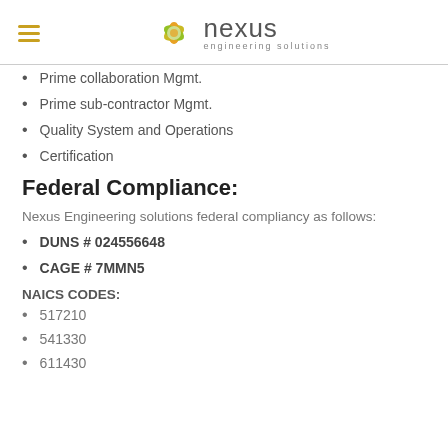nexus engineering solutions
Prime collaboration Mgmt.
Prime sub-contractor Mgmt.
Quality System and Operations
Certification
Federal Compliance:
Nexus Engineering solutions federal compliancy as follows:
DUNS # 024556648
CAGE # 7MMN5
NAICS CODES:
517210
541330
611430